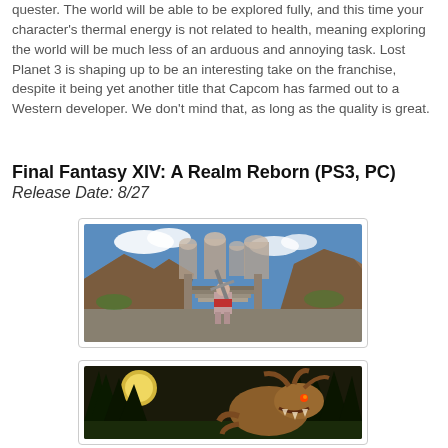quester. The world will be able to be explored fully, and this time your character's thermal energy is not related to health, meaning exploring the world will be much less of an arduous and annoying task. Lost Planet 3 is shaping up to be an interesting take on the franchise, despite it being yet another title that Capcom has farmed out to a Western developer. We don't mind that, as long as the quality is great.
Final Fantasy XIV: A Realm Reborn (PS3, PC)
Release Date: 8/27
[Figure (photo): Screenshot from Final Fantasy XIV: A Realm Reborn showing an armored character in a fantasy outdoor environment with ruins and architecture]
[Figure (photo): Screenshot from Final Fantasy XIV: A Realm Reborn showing a dark nighttime scene with a large creature]